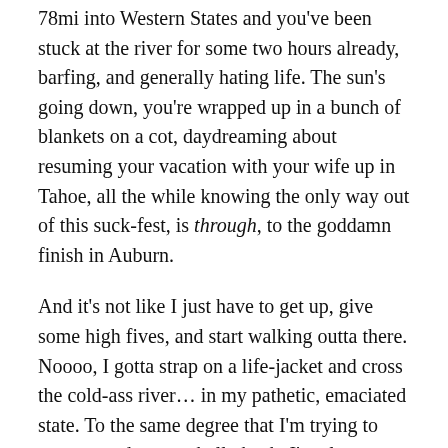78mi into Western States and you've been stuck at the river for some two hours already, barfing, and generally hating life. The sun's going down, you're wrapped up in a bunch of blankets on a cot, daydreaming about resuming your vacation with your wife up in Tahoe, all the while knowing the only way out of this suck-fest, is through, to the goddamn finish in Auburn.
And it's not like I just have to get up, give some high fives, and start walking outta there. Noooo, I gotta strap on a life-jacket and cross the cold-ass river… in my pathetic, emaciated state. To the same degree that I'm trying to recover and get my belly back, I'm also slowly mustering the courage to do it—Cross. The. F_____g. River.